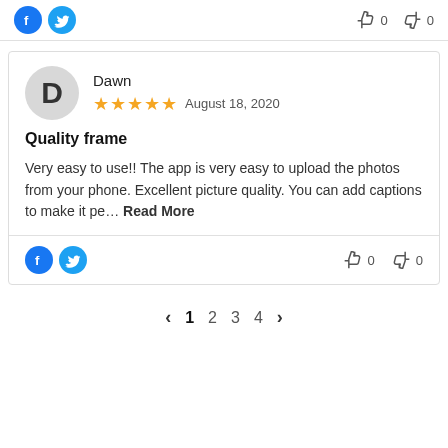[Figure (infographic): Top bar with Facebook and Twitter social sharing icons on the left, and thumbs up/thumbs down vote counts (partially visible) on the right]
[Figure (infographic): Review card for user Dawn, 5-star rating, dated August 18, 2020, with review title 'Quality frame', review body text, social icons, and vote counts at the bottom]
< 1 2 3 4 >